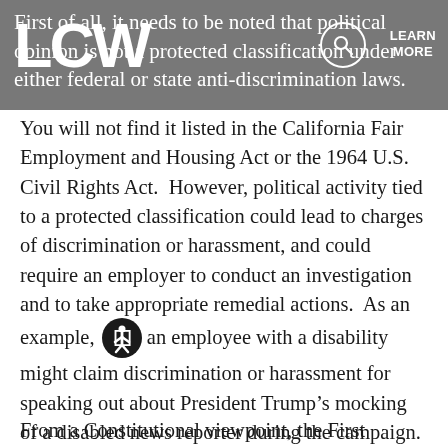LCW | LEARN MORE | First of all, it needs to be noted that political opinion is not a protected classification under either federal or state anti-discrimination laws.
First of all, it needs to be noted that political opinion is not a protected classification under either federal or state anti-discrimination laws.  You will not find it listed in the California Fair Employment and Housing Act or the 1964 U.S. Civil Rights Act.  However, political activity tied to a protected classification could lead to charges of discrimination or harassment, and could require an employer to conduct an investigation and to take appropriate remedial actions.  As an example, an employee with a disability might claim discrimination or harassment for speaking out about President Trump’s mocking of a disabled news reporter during the campaign.  Another example could be a claim made by a Latino employee who alleges retaliation for speaking out against the President’s plan to build a wall along the U.S.-Mexico border.
From a Constitutional viewpoint, the First Amendment